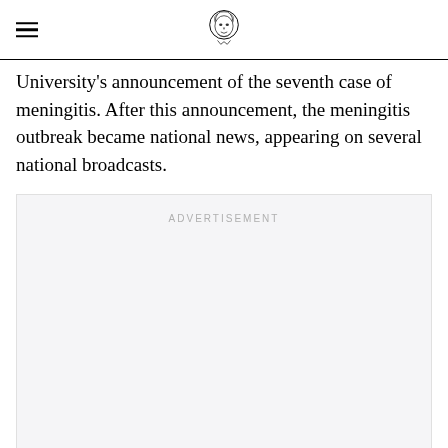[hamburger menu icon] [university logo/mascot]
University's announcement of the seventh case of meningitis. After this announcement, the meningitis outbreak became national news, appearing on several national broadcasts.
[Figure (other): Advertisement placeholder box with label 'ADVERTISEMENT' in light gray uppercase text]